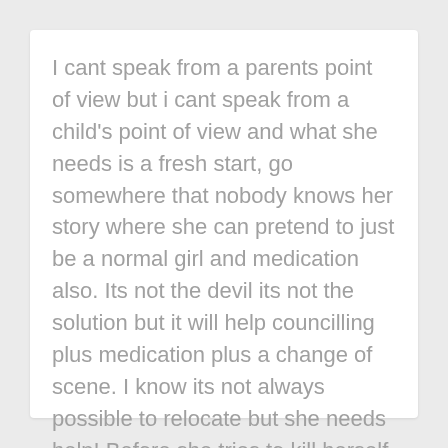I cant speak from a parents point of view but i cant speak from a child's point of view and what she needs is a fresh start, go somewhere that nobody knows her story where she can pretend to just be a normal girl and medication also. Its not the devil its not the solution but it will help councilling plus medication plus a change of scene. I know its not always possible to relocate but she needs help! Before she tries to kill herself
POST YOU ANSWER